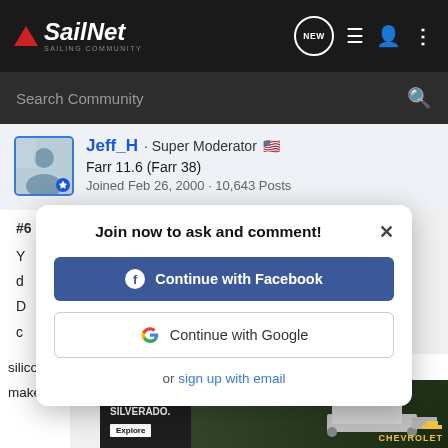SailNet SAILING COMMUNITY
Search Community
Jeff_H · Super Moderator
Farr 11.6 (Farr 38)
Joined Feb 26, 2000 · 10,643 Posts
#6
You... de... D... cl... m...
Join now to ask and comment!
Continue with Facebook
Continue with Google
or sign up with email
silicone which gets into the pores of the gelcoat and potentially makes a...
[Figure (screenshot): Chevrolet Silverado 2022 advertisement banner at bottom of page]